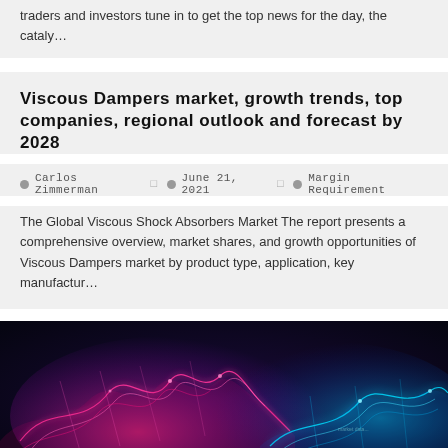traders and investors tune in to get the top news for the day, the cataly…
Viscous Dampers market, growth trends, top companies, regional outlook and forecast by 2028
Carlos Zimmerman  June 21, 2021  Margin Requirement
The Global Viscous Shock Absorbers Market The report presents a comprehensive overview, market shares, and growth opportunities of Viscous Dampers market by product type, application, key manufactur…
[Figure (photo): Abstract digital wave visualization with pink and blue glowing wave patterns on a dark navy/black background, suggesting data visualization or financial market waves.]